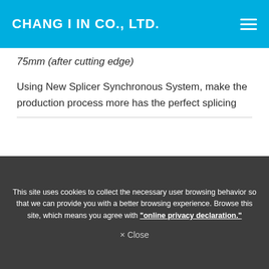CHANG I IN CO., LTD.
75mm (after cutting edge)
Using New Splicer Synchronous System, make the production process more has the perfect splicing
This site uses cookies to collect the necessary user browsing behavior so that we can provide you with a better browsing experience. Browse this site, which means you agree with "online privacy declaration."
× Close